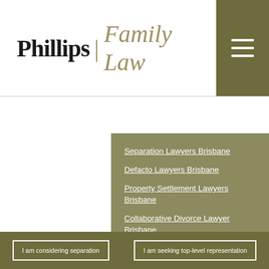[Figure (logo): Phillips | Family Law logo with serif typography. 'Phillips' in dark black, separator bar, 'Family Law' in olive/gold italic. Menu hamburger icon in olive square top right.]
Services
Separation Lawyers Brisbane
Defacto Lawyers Brisbane
Property Settlement Lawyers Brisbane
Collaborative Divorce Lawyer Brisbane
Divorce Lawyers Brisbane
International Divorce Lawyers Brisbane
I am considering separation
I am seeking top-level representation